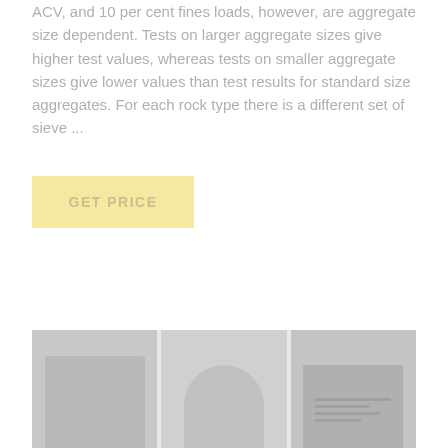ACV, and 10 per cent fines loads, however, are aggregate size dependent. Tests on larger aggregate sizes give higher test values, whereas tests on smaller aggregate sizes give lower values than test results for standard size aggregates. For each rock type there is a different set of sieve ...
GET PRICE
[Figure (photo): A strip of three images showing aggregate testing equipment or rock samples, rendered in grayscale/faded style at the bottom of the page.]